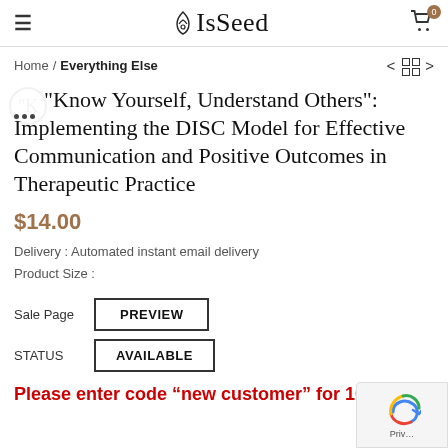IsSeed
Home / Everything Else
"Know Yourself, Understand Others": Implementing the DISC Model for Effective Communication and Positive Outcomes in Therapeutic Practice
$14.00
Delivery : Automated instant email delivery
Product Size :
Sale Page   PREVIEW
STATUS   AVAILABLE
Please enter code “new customer” for 10%